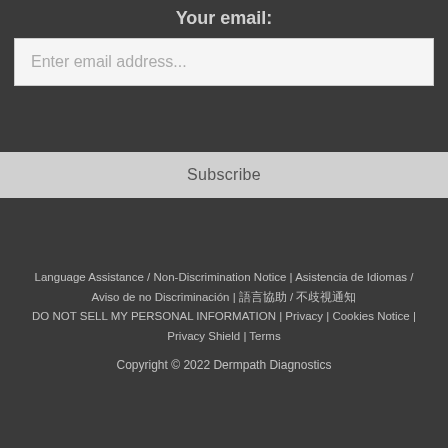Your email:
Enter email address...
Subscribe
Language Assistance / Non-Discrimination Notice | Asistencia de Idiomas / Aviso de no Discriminación | 語言協助／不歧視通知 | DO NOT SELL MY PERSONAL INFORMATION | Privacy | Cookies Notice | Privacy Shield | Terms
Copyright © 2022 Dermpath Diagnostics